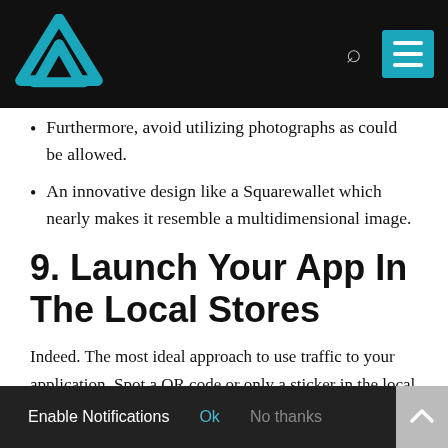Website logo and navigation header
Furthermore, avoid utilizing photographs as could be allowed.
An innovative design like a Squarewallet which nearly makes it resemble a multidimensional image.
9. Launch Your App In The Local Stores
Indeed. The most ideal approach to use traffic to your application. Spot a QR code or only a sticker in the local stores by informing your users that you have a mobile application. The other capable factor is by having a QR code on your [receipt — to have an immediate connection to download your new application.]
Enable Notifications  Ok  No thanks